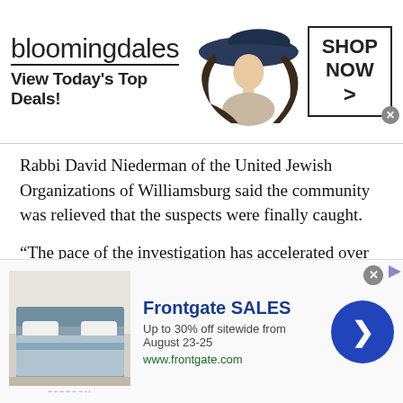[Figure (other): Bloomingdale's advertisement banner with logo, woman in hat, and Shop Now button]
Rabbi David Niederman of the United Jewish Organizations of Williamsburg said the community was relieved that the suspects were finally caught.
“The pace of the investigation has accelerated over the last 24 hours and hopefully will continue to accelerate over the next 24 hours to its conclusion,” NYPD Commissioner Bill Bratton said during a brief appearance with Brooklyn District Attorney Ken Thompson, who nodded in agreement. “It’s accelerating and it’s moving in a very quick direction.”
[Figure (other): Frontgate SALES advertisement banner: Up to 30% off sitewide from August 23-25, www.frontgate.com]